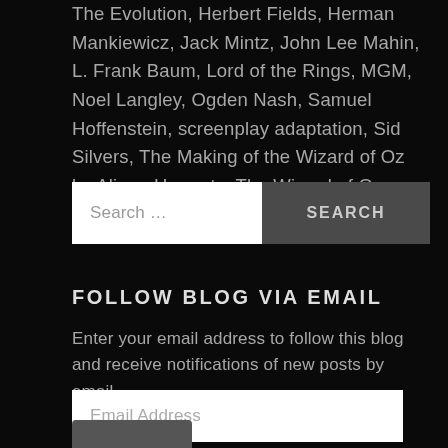The Evolution, Herbert Fields, Herman Mankiewicz, Jack Mintz, John Lee Mahin, L. Frank Baum, Lord of the Rings, MGM, Noel Langley, Ogden Nash, Samuel Hoffenstein, screenplay adaptation, Sid Silvers, The Making of the Wizard of Oz by Aljean Harmetz, The Wizard of Oz (1939)      Leave a comment
Search …
FOLLOW BLOG VIA EMAIL
Enter your email address to follow this blog and receive notifications of new posts by email.
Email Address